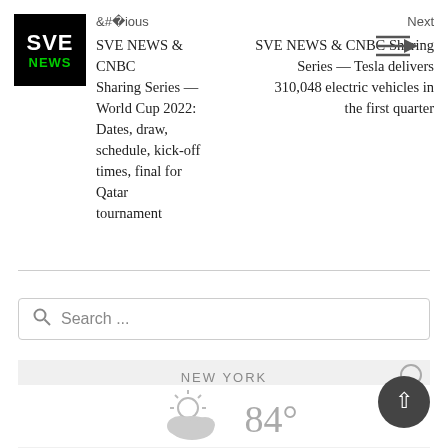[Figure (logo): SVE NEWS logo — black square with white SVE text and green NEWS text]
Previous
SVE NEWS & CNBC Sharing Series — World Cup 2022: Dates, draw, schedule, kick-off times, final for Qatar tournament
Next
SVE NEWS & CNBC Sharing Series — Tesla delivers 310,048 electric vehicles in the first quarter
Search ...
NEW YORK
84°